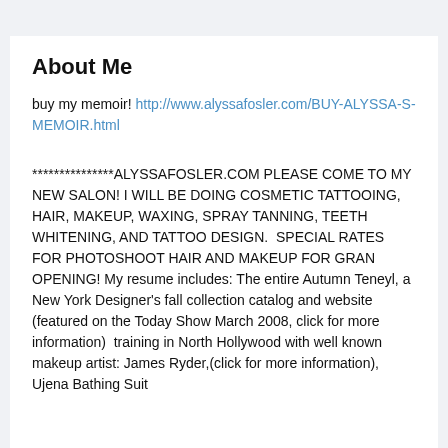About Me
buy my memoir! http://www.alyssafosler.com/BUY-ALYSSA-S-MEMOIR.html
***************ALYSSAFOSLER.COM PLEASE COME TO MY NEW SALON! I WILL BE DOING COSMETIC TATTOOING, HAIR, MAKEUP, WAXING, SPRAY TANNING, TEETH WHITENING, AND TATTOO DESIGN.  SPECIAL RATES FOR PHOTOSHOOT HAIR AND MAKEUP FOR GRAN OPENING! My resume includes: The entire Autumn Teneyl, a New York Designer's fall collection catalog and website (featured on the Today Show March 2008, click for more information)  training in North Hollywood with well known makeup artist: James Ryder,(click for more information), Ujena Bathing Suit